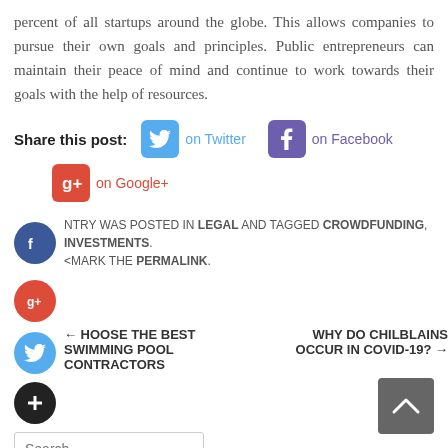percent of all startups around the globe. This allows companies to pursue their own goals and principles. Public entrepreneurs can maintain their peace of mind and continue to work towards their goals with the help of resources.
Share this post: on Twitter on Facebook on Google+
NTRY WAS POSTED IN LEGAL AND TAGGED CROWDFUNDING, INVESTMENTS. BOOKMARK THE PERMALINK.
← CHOOSE THE BEST SWIMMING POOL CONTRACTORS
WHY DO CHILBLAINS OCCUR IN COVID-19? →
Search ...
CATEGORIES